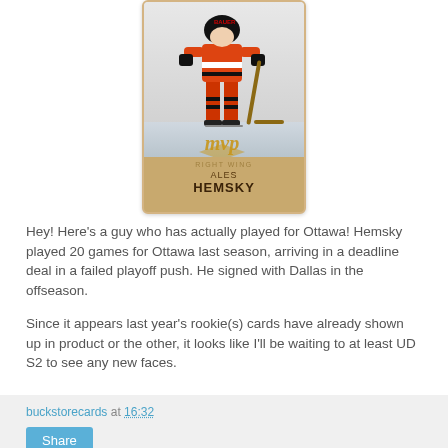[Figure (photo): Hockey trading card showing Ales Hemsky, Right Wing, with MVP branding in gold. Player shown in orange/red hockey uniform. Gold/tan colored card border with player name at bottom.]
Hey! Here's a guy who has actually played for Ottawa! Hemsky played 20 games for Ottawa last season, arriving in a deadline deal in a failed playoff push. He signed with Dallas in the offseason.
Since it appears last year's rookie(s) cards have already shown up in product or the other, it looks like I'll be waiting to at least UD S2 to see any new faces.
buckstorecards at 16:32  Share